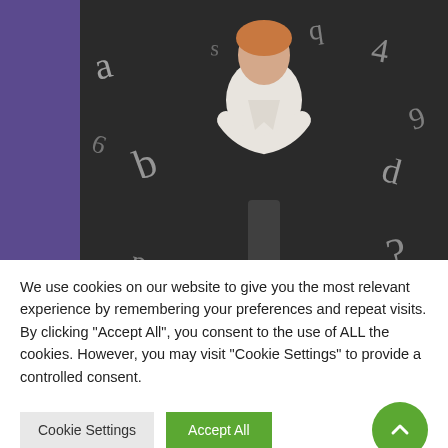[Figure (photo): A person in a white blazer standing with arms crossed in front of a dark chalkboard with letters and symbols floating around them]
FHI BLOG
What is Dyslexia/Learning Disabilities and
We use cookies on our website to give you the most relevant experience by remembering your preferences and repeat visits. By clicking "Accept All", you consent to the use of ALL the cookies. However, you may visit "Cookie Settings" to provide a controlled consent.
Cookie Settings | Accept All